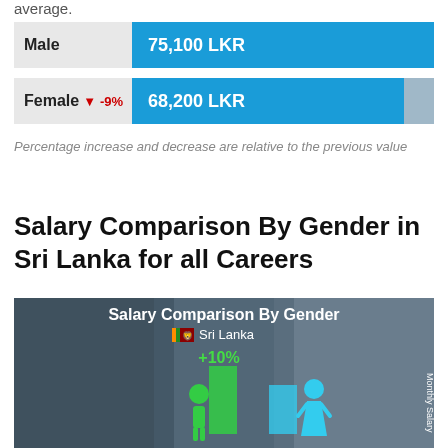average.
| Gender | Salary |
| --- | --- |
| Male | 75,100 LKR |
| Female ▼ -9% | 68,200 LKR |
Percentage increase and decrease are relative to the previous value
Salary Comparison By Gender in Sri Lanka for all Careers
[Figure (infographic): Salary Comparison By Gender infographic showing Sri Lanka flag, +10% label, green male figure with green bar and cyan female figure with cyan bar, side by side on a photographic background of a man and woman. Monthly Salary label on right side.]